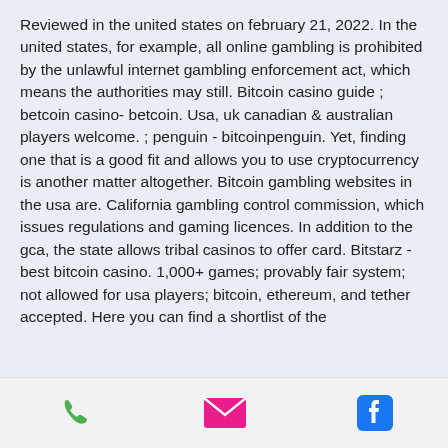Reviewed in the united states on february 21, 2022. In the united states, for example, all online gambling is prohibited by the unlawful internet gambling enforcement act, which means the authorities may still. Bitcoin casino guide ; betcoin casino- betcoin. Usa, uk canadian &amp; australian players welcome. ; penguin - bitcoinpenguin. Yet, finding one that is a good fit and allows you to use cryptocurrency is another matter altogether. Bitcoin gambling websites in the usa are. California gambling control commission, which issues regulations and gaming licences. In addition to the gca, the state allows tribal casinos to offer card. Bitstarz - best bitcoin casino. 1,000+ games; provably fair system; not allowed for usa players; bitcoin, ethereum, and tether accepted. Here you can find a shortlist of the
[Figure (infographic): Footer bar with three icons: green phone icon, pink/red envelope icon, and blue Facebook icon]